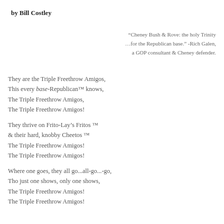by Bill Costley
“Cheney Bush & Rove: the holy Trinity …for the Republican base.” -Rich Galen, a GOP consultant & Cheney defender.
They are the Triple Freethrow Amigos,
This every base-Republican™ knows,
The Triple Freethrow Amigos,
The Triple Freethrow Amigos!
They thrive on Frito-Lay’s Fritos ™
& their hard, knobby Cheetos ™
The Triple Freethrow Amigos!
The Triple Freethrow Amigos!
Where one goes, they all go...all-go...-go,
Tho just one shows, only one shows,
The Triple Freethrow Amigos!
The Triple Freethrow Amigos!